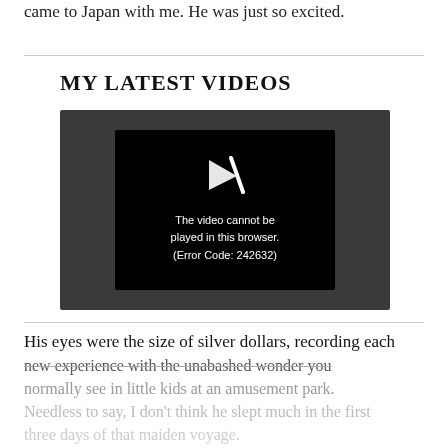came to Japan with me. He was just so excited.
MY LATEST VIDEOS
[Figure (screenshot): Video player showing error message: 'The video cannot be played in this browser. (Error Code: 242632)' with a broken play icon on a black background, set within a dark gray video container.]
His eyes were the size of silver dollars, recording each new experience with the unabashed wonder you normally see in little kids at an amusement park. Needless to say, I don't think he slept much in the first three days of that maiden voyage.